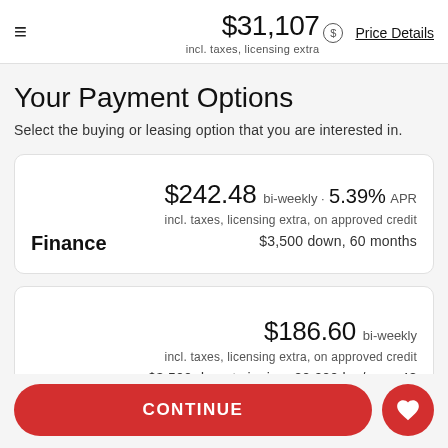$31,107 incl. taxes, licensing extra · Price Details
Your Payment Options
Select the buying or leasing option that you are interested in.
Finance
$242.48 bi-weekly · 5.39% APR
incl. taxes, licensing extra, on approved credit
$3,500 down, 60 months
Lease
$186.60 bi-weekly
incl. taxes, licensing extra, on approved credit
$3,500 due at signing, 20,000 km/year, 48
CONTINUE